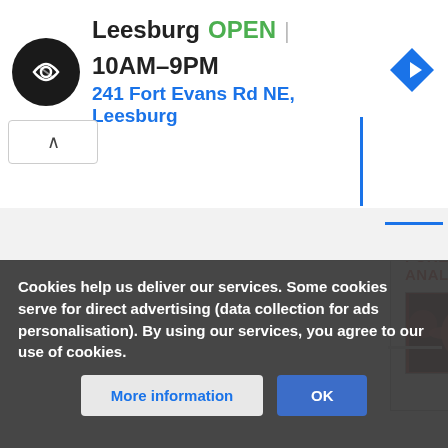[Figure (screenshot): Advertisement banner for a store in Leesburg showing logo, open status, hours, and address]
[Figure (photo): Book cover: File System Forensic Analysis by Brian Carrier, with red flowers image]
Category:  Data Recovery
This page was last edited on 22 May 2019, at 08:40.
Cookies help us deliver our services. Some cookies serve for direct advertising (data collection for ads personalisation). By using our services, you agree to our use of cookies.